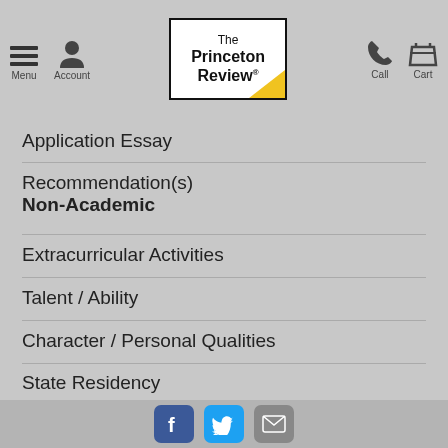Menu Account | The Princeton Review | Call Cart
Application Essay
Recommendation(s)
Non-Academic
Extracurricular Activities
Talent / Ability
Character / Personal Qualities
State Residency
Volunteer Work
Work Experience
Facebook Twitter Email